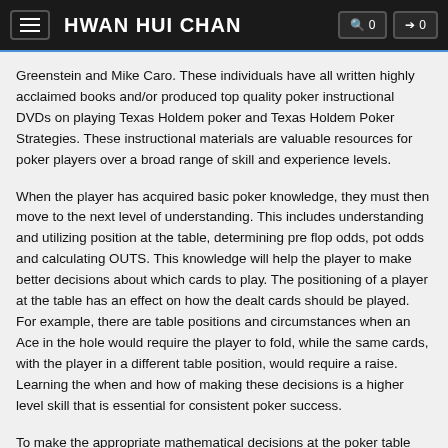HWAN HUI CHAN
Greenstein and Mike Caro. These individuals have all written highly acclaimed books and/or produced top quality poker instructional DVDs on playing Texas Holdem poker and Texas Holdem Poker Strategies. These instructional materials are valuable resources for poker players over a broad range of skill and experience levels.
When the player has acquired basic poker knowledge, they must then move to the next level of understanding. This includes understanding and utilizing position at the table, determining pre flop odds, pot odds and calculating OUTS. This knowledge will help the player to make better decisions about which cards to play. The positioning of a player at the table has an effect on how the dealt cards should be played. For example, there are table positions and circumstances when an Ace in the hole would require the player to fold, while the same cards, with the player in a different table position, would require a raise. Learning the when and how of making these decisions is a higher level skill that is essential for consistent poker success.
To make the appropriate mathematical decisions at the poker table related to odds and probabilities, a number of aids are available that can assist the player. These aids include charts and calculators that can assist players in acquiring the necessary statistical information. Through